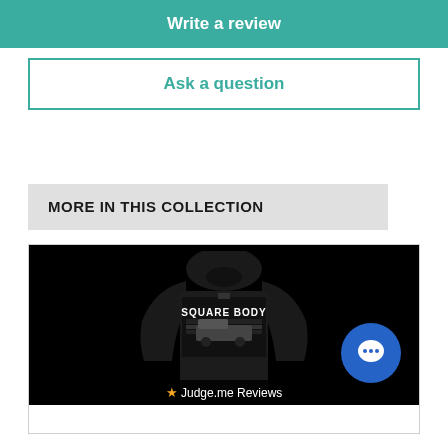Write a review
Ask a question
MORE IN THIS COLLECTION
[Figure (photo): Black hoodie with 'Square Body' text and truck graphic with American flag, product card with Judge.me Reviews bar and chat bubble icon]